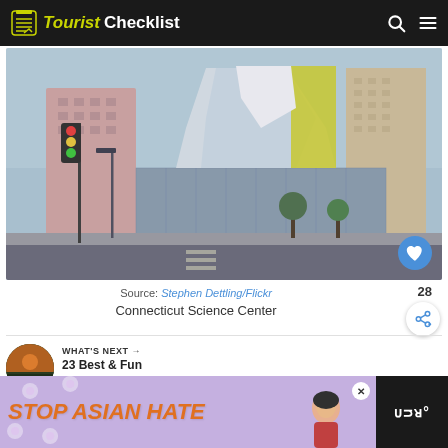Tourist Checklist
[Figure (photo): Street-level photo of the Connecticut Science Center building in Hartford, showing a modern angular glass and concrete structure with a tall hotel tower in the background. Urban street intersection in foreground.]
Source: Stephen Dettling/Flickr
Connecticut Science Center
28
WHAT'S NEXT → 23 Best & Fun Things to D...
[Figure (photo): Thumbnail image of a landscape/sunset scene for 'What's Next' section]
[Figure (photo): Advertisement banner: STOP ASIAN HATE with illustrated character and floral pattern background]